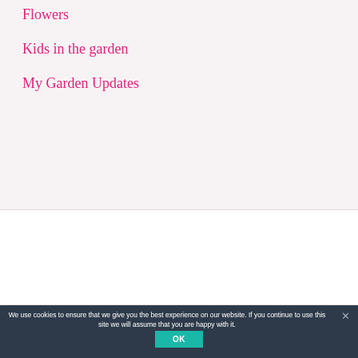Flowers
Kids in the garden
My Garden Updates
[Figure (other): White rectangular advertisement or content block]
We use cookies to ensure that we give you the best experience on our website. If you continue to use this site we will assume that you are happy with it.